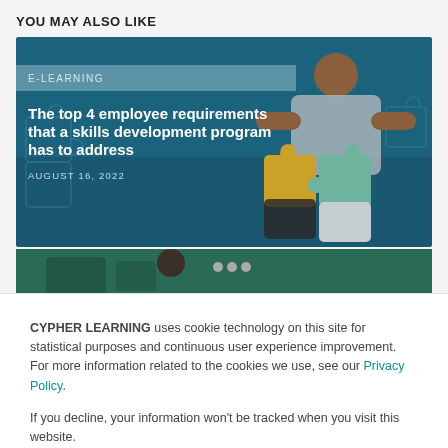YOU MAY ALSO LIKE
[Figure (illustration): Card image showing a person assembling puzzle pieces on a teal/blue background, with category label E-LEARNING, article title 'The top 4 employee requirements that a skills development program has to address', and date AUGUST 16, 2022]
[Figure (photo): Partial card image showing a dark green background with what appears to be a classroom or e-learning scene, partially obscured by cookie banner]
CYPHER LEARNING uses cookie technology on this site for statistical purposes and continuous user experience improvement. For more information related to the cookies we use, see our Privacy Policy.
If you decline, your information won't be tracked when you visit this website.
Accept
Decline